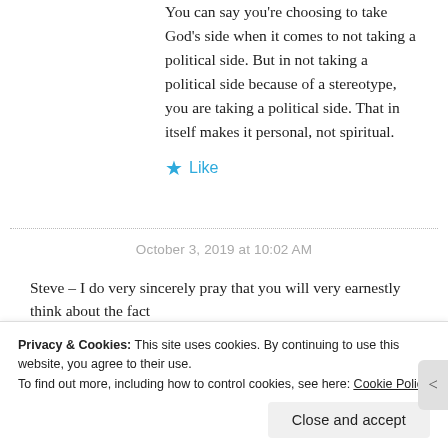You can say you're choosing to take God's side when it comes to not taking a political side. But in not taking a political side because of a stereotype, you are taking a political side. That in itself makes it personal, not spiritual.
★ Like
October 3, 2019 at 10:02 AM
Steve – I do very sincerely pray that you will very earnestly think about the fact
Privacy & Cookies: This site uses cookies. By continuing to use this website, you agree to their use.
To find out more, including how to control cookies, see here: Cookie Policy
Close and accept